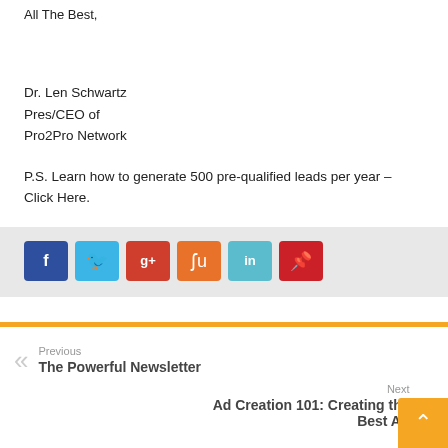All The Best,
Dr. Len Schwartz
Pres/CEO of
Pro2Pro Network
P.S. Learn how to generate 500 pre-qualified leads per year – Click Here.
[Figure (infographic): Row of six social media share buttons: Facebook (dark blue, f), Twitter (light blue, bird), Google+ (red, g+), StumbleUpon (orange, su), LinkedIn (teal, in), Pinterest (red, p)]
Previous
The Powerful Newsletter
Next
Ad Creation 101: Creating the Best Ad